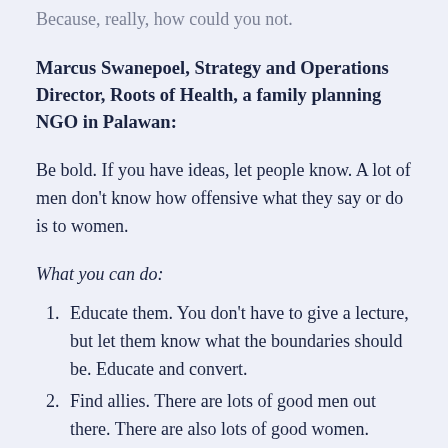Because, really, how could you not.
Marcus Swanepoel, Strategy and Operations Director, Roots of Health, a family planning NGO in Palawan:
Be bold. If you have ideas, let people know. A lot of men don’t know how offensive what they say or do is to women.
What you can do:
Educate them. You don’t have to give a lecture, but let them know what the boundaries should be. Educate and convert.
Find allies. There are lots of good men out there. There are also lots of good women. Share your experiences – the good and